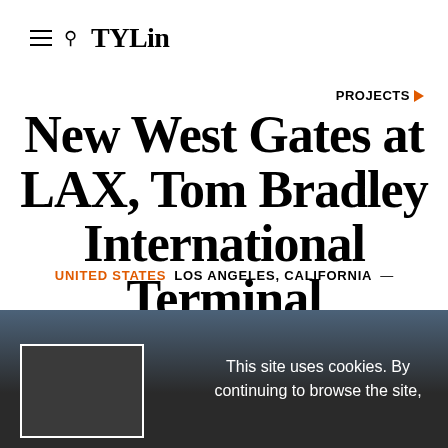≡ 🔍 TYLin
PROJECTS ▶
New West Gates at LAX, Tom Bradley International Terminal
UNITED STATES LOS ANGELES, CALIFORNIA —
This site uses cookies. By continuing to browse the site,